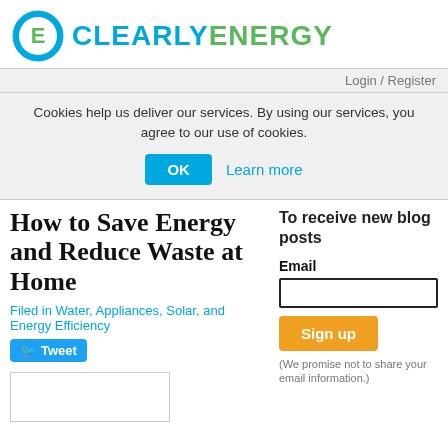[Figure (logo): Clearly Energy logo: blue circle with green 'E' plug icon, followed by 'CLEARLY' in blue and 'ENERGY' in green bold text]
Login / Register
Cookies help us deliver our services. By using our services, you agree to our use of cookies.
OK
Learn more
How to Save Energy and Reduce Waste at Home
Filed in Water, Appliances, Solar, and Energy Efficiency
Tweet
To receive new blog posts
Email
Sign up
(We promise not to share your email information.)